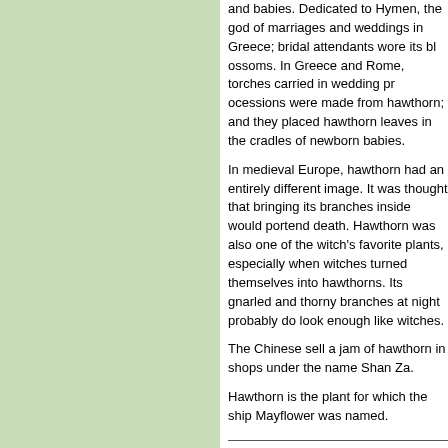and babies. Dedicated to Hymen, the god of marriages and weddings in Greece; bridal attendants wore its blossoms. In Greece and Rome, torches carried in wedding processions were made from hawthorn; and they placed hawthorn leaves in the cradles of newborn babies.
In medieval Europe, hawthorn had an entirely different image. It was thought that bringing its branches inside would portend death. Hawthorn was also one of the witch's favorite plants, especially when witches turned themselves into hawthorns. Its gnarled and thorny branches at night probably do look enough like witches.
The Chinese sell a jam of hawthorn in shops under the name Shan Za.
Hawthorn is the plant for which the ship Mayflower was named.
Uses
Hawthorn normalizes blood pressure by regulating the heart pressure. It is good for heart muscle weakened by age, for softening the arteries in arteriosclerosis, helps strengthen angina pectoris, weak heart, vascular insufficiency and similar problems. People under stress and strain from poor digestion. The tea is also a good remedy for other blood vessels, to restore the heart muscle wall, and to help with abdominal distention and diarrhea, food stagnation, and for splinters and thorns.
Formulas or Dosages
Infusion: steep 1 tsp. flowers in 1/2 cup water. Take 1 cup a day with honey if desired.